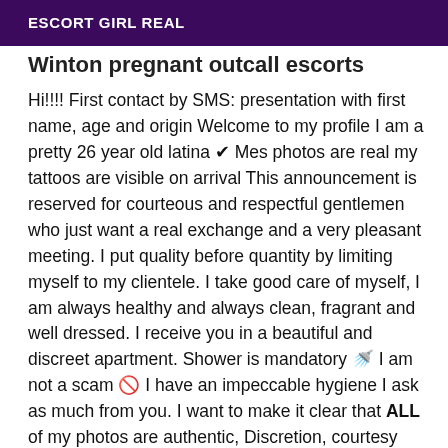ESCORT GIRL REAL
Winton pregnant outcall escorts
Hi!!!! First contact by SMS: presentation with first name, age and origin Welcome to my profile I am a pretty 26 year old latina ✔ Mes photos are real my tattoos are visible on arrival This announcement is reserved for courteous and respectful gentlemen who just want a real exchange and a very pleasant meeting. I put quality before quantity by limiting myself to my clientele. I take good care of myself, I am always healthy and always clean, fragrant and well dressed. I receive you in a beautiful and discreet apartment. Shower is mandatory 🚿 I am not a scam 🚫 I have an impeccable hygiene I ask as much from you. I want to make it clear that ALL of my photos are authentic, Discretion, courtesy and mutual respect are my expectations! My practices are *Complete massages *Blowjob protects * Caress *Spanish ball *Cuninlingus *69 *Pipi / * *Facial or body ejaculation...